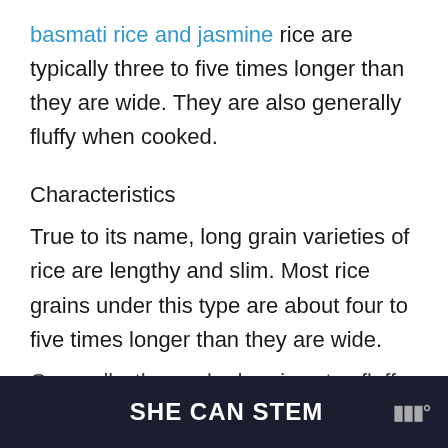basmati rice and jasmine rice are typically three to five times longer than they are wide. They are also generally fluffy when cooked.
Characteristics
True to its name, long grain varieties of rice are lengthy and slim. Most rice grains under this type are about four to five times longer than they are wide.
Generally, the cooked grains stay fluffy a...
SHE CAN STEM